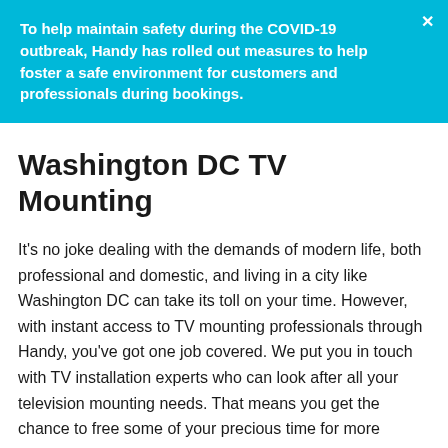To help maintain safety during the COVID-19 outbreak, Handy has rolled out measures to help foster a safe environment for customers and professionals during bookings.
Washington DC TV Mounting
It's no joke dealing with the demands of modern life, both professional and domestic, and living in a city like Washington DC can take its toll on your time. However, with instant access to TV mounting professionals through Handy, you've got one job covered. We put you in touch with TV installation experts who can look after all your television mounting needs. That means you get the chance to free some of your precious time for more pleasurable things, such as quality time with the kids or catching up on sleep!